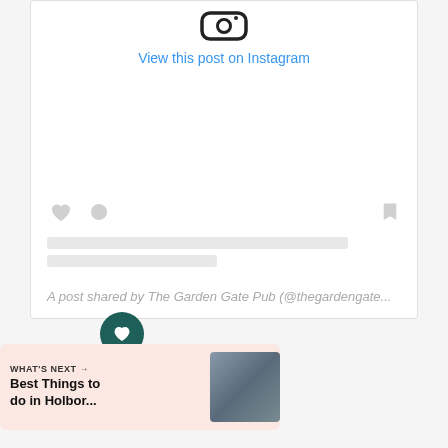[Figure (screenshot): Instagram embed card showing a post from The Garden Gate Pub with Instagram logo, 'View this post on Instagram' link, like/comment/bookmark icons, skeleton loading lines, and attribution text]
View this post on Instagram
A post shared by The Garden Gate Pub (@thegardengate...
[Figure (illustration): Dark teal circular FAB button with white heart icon]
[Figure (illustration): Light pink circular FAB button with share/add icon]
WHAT'S NEXT → Best Things to do in Holbor...